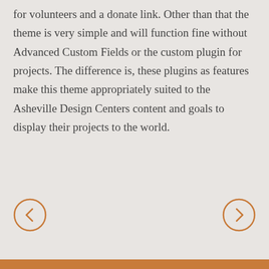for volunteers and a donate link. Other than that the theme is very simple and will function fine without Advanced Custom Fields or the custom plugin for projects. The difference is, these plugins as features make this theme appropriately suited to the Asheville Design Centers content and goals to display their projects to the world.
[Figure (other): Navigation arrows: left arrow circle (back) on the left side and right arrow circle (forward) on the right side, both in orange/amber color]